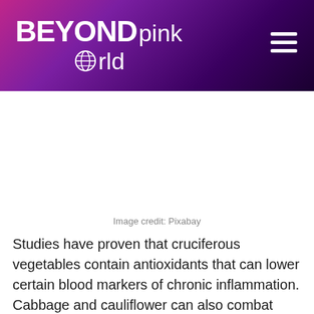BEYONDpink World
Image credit: Pixabay
Studies have proven that cruciferous vegetables contain antioxidants that can lower certain blood markers of chronic inflammation. Cabbage and cauliflower can also combat oxidative stress which lowers the chances of unnecessary inflammation.